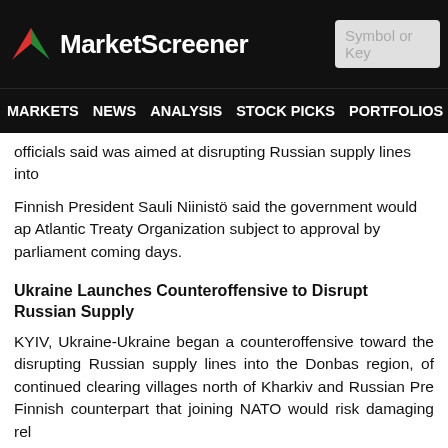[Figure (logo): MarketScreener logo with red and green arrow icon on black header bar, and a search box on the right]
MARKETS NEWS ANALYSIS STOCK PICKS PORTFOLIOS WATCHLI
officials said was aimed at disrupting Russian supply lines into
Finnish President Sauli Niinistö said the government would ap Atlantic Treaty Organization subject to approval by parliament coming days.
Ukraine Launches Counteroffensive to Disrupt Russian Supply
KYIV, Ukraine-Ukraine began a counteroffensive toward the disrupting Russian supply lines into the Donbas region, of continued clearing villages north of Kharkiv and Russian Pre Finnish counterpart that joining NATO would risk damaging rel